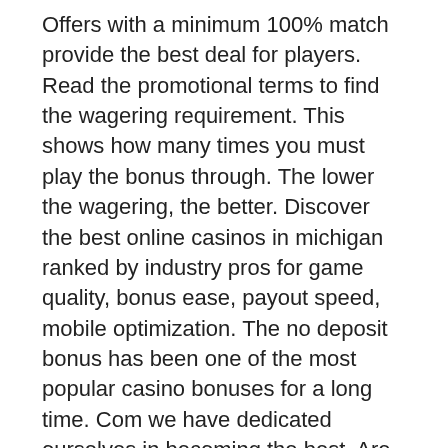Offers with a minimum 100% match provide the best deal for players. Read the promotional terms to find the wagering requirement. This shows how many times you must play the bonus through. The lower the wagering, the better. Discover the best online casinos in michigan ranked by industry pros for game quality, bonus ease, payout speed, mobile optimization. The no deposit bonus has been one of the most popular casino bonuses for a long time. Com we have dedicated ourselves in becoming the best. Are you on the lookout for the best online casinos? ⮕ find top casino sites offering ✓ a great selection of games ✓ juicy bonuses ✓ secure gameplay. Dai un'occhiata ai bonus disponibili sui casinò online per i giocatori dall'italia. Bonus senza deposito: 10 fino €10 snai casino. 100% match bonus up to £50 on 1st deposit of £10+. 50x bonus wagering applies as do weighting. Bet on casino, overall top